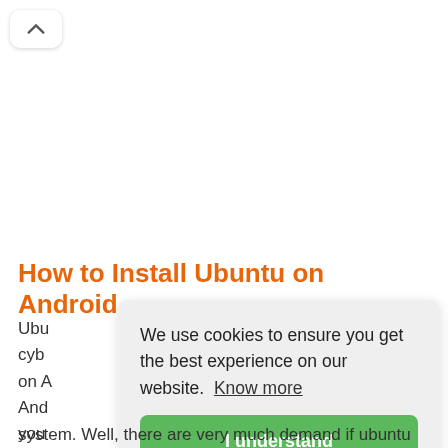[Figure (screenshot): Back/up navigation button with a caret (^) icon, white rounded rectangle]
How to Install Ubuntu on Android
Ubu... cyb... on A... And... you... system. Well, there are very much demand if ubuntu
We use cookies to ensure you get the best experience on our website.  Know more
I understand